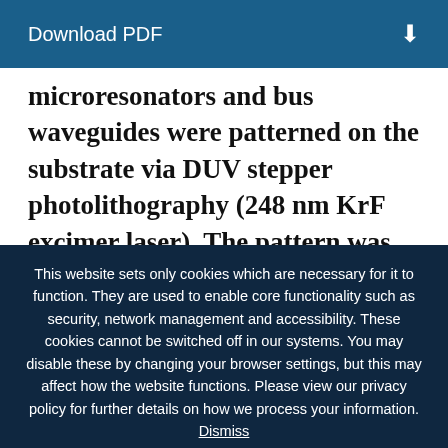Download PDF
microresonators and bus waveguides were patterned on the substrate via DUV stepper photolithography (248 nm KrF excimer laser). The pattern was then dry-etched into the SiO₂ cladding
This website sets only cookies which are necessary for it to function. They are used to enable core functionality such as security, network management and accessibility. These cookies cannot be switched off in our systems. You may disable these by changing your browser settings, but this may affect how the website functions. Please view our privacy policy for further details on how we process your information. Dismiss